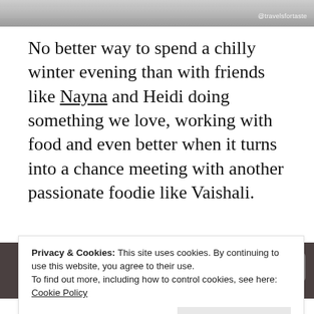[Figure (photo): Partial view of a food-related image at the top of the page, with watermark '@travelsfortaste' in the top right corner.]
No better way to spend a chilly winter evening than with friends like Nayna and Heidi doing something we love, working with food and even better when it turns into a chance meeting with another passionate foodie like Vaishali.
[Figure (photo): Partial view of kitchen/food items including bowls and bottles on a dark surface.]
Privacy & Cookies: This site uses cookies. By continuing to use this website, you agree to their use.
To find out more, including how to control cookies, see here: Cookie Policy
Close and accept